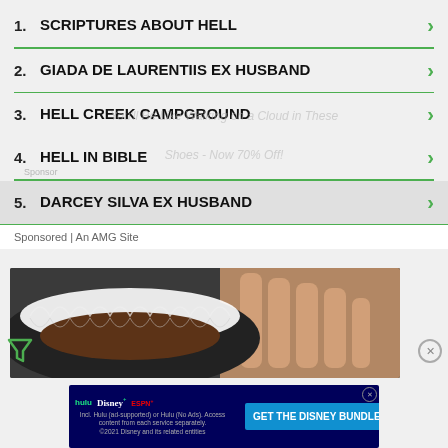1. SCRIPTURES ABOUT HELL
2. GIADA DE LAURENTIIS EX HUSBAND
3. HELL CREEK CAMPGROUND
4. HELL IN BIBLE
5. DARCEY SILVA EX HUSBAND
Sponsored | An AMG Site
[Figure (photo): Close-up photo of hands placing a coffee filter into a dark baking pan, with coffee grounds visible]
[Figure (screenshot): Disney Bundle advertisement banner showing Hulu, Disney+, and ESPN+ logos with 'GET THE DISNEY BUNDLE' button and small print about subscription terms]